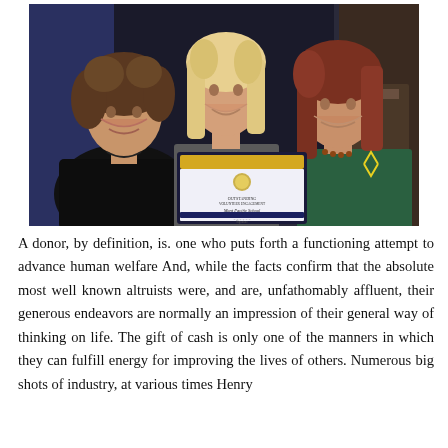[Figure (photo): Three women posing together at an event, the middle one holding a framed award certificate with a yellow and blue border that reads 'Mont Pacific School'. The background shows a dimly lit event venue.]
A donor, by definition, is. one who puts forth a functioning attempt to advance human welfare And, while the facts confirm that the absolute most well known altruists were, and are, unfathomably affluent, their generous endeavors are normally an impression of their general way of thinking on life. The gift of cash is only one of the manners in which they can fulfill energy for improving the lives of others. Numerous big shots of industry, at various times Henry